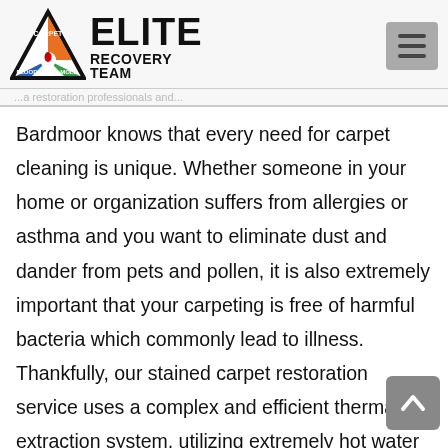[Figure (logo): Elite Carpet Recovery Team logo with triangle icon showing carpet, flood, mold segments]
...a restoration professionals and...
Bardmoor knows that every need for carpet cleaning is unique. Whether someone in your home or organization suffers from allergies or asthma and you want to eliminate dust and dander from pets and pollen, it is also extremely important that your carpeting is free of harmful bacteria which commonly lead to illness. Thankfully, our stained carpet restoration service uses a complex and efficient thermal extraction system, utilizing extremely hot water and steam added with cleaning chemicals that kill over 95% germs and bacteria. Our cleaning solutions work at microscopic level to ensure that bacteria are not only eliminated but protects the carpet from future infestations.